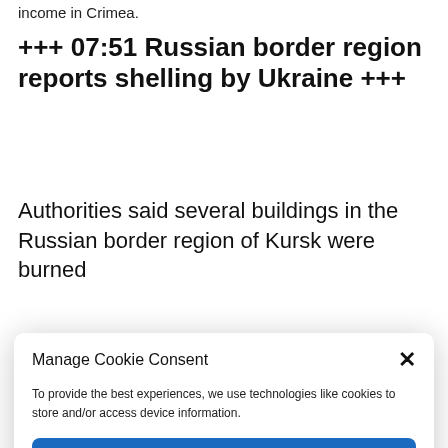income in Crimea.
+++ 07:51 Russian border region reports shelling by Ukraine +++
Authorities said several buildings in the Russian border region of Kursk were burned
Manage Cookie Consent
To provide the best experiences, we use technologies like cookies to store and/or access device information.
Accept
Deny
View preferences
Cookie Policy